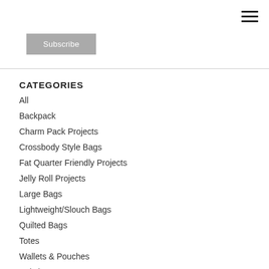☰
Subscribe
CATEGORIES
All
Backpack
Charm Pack Projects
Crossbody Style Bags
Fat Quarter Friendly Projects
Jelly Roll Projects
Large Bags
Lightweight/Slouch Bags
Quilted Bags
Totes
Wallets & Pouches
Wristlet